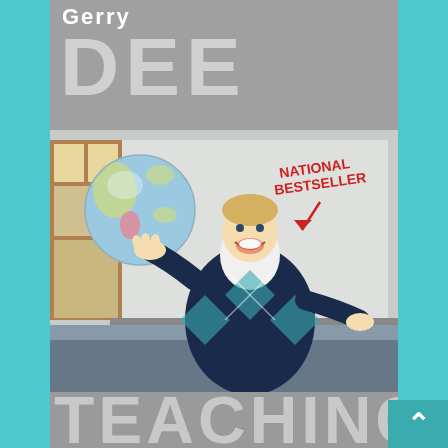Gerry DEE
[Figure (photo): Book cover photo of Gerry Dee, a blond man in an argyle sweater, smiling and balancing a globe on one hand in a classroom setting. A whiteboard is visible behind him with 'NATIONAL BESTSELLER' written in red with an arrow pointing down.]
TEACHING